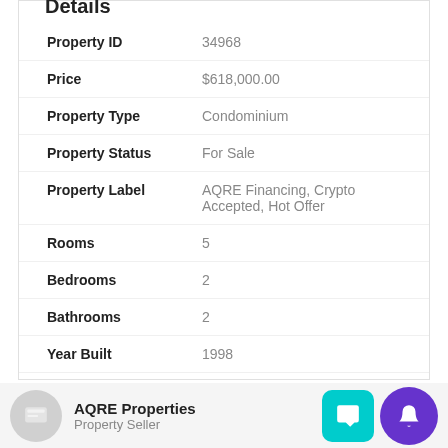Details
| Field | Value |
| --- | --- |
| Property ID | 34968 |
| Price | $618,000.00 |
| Property Type | Condominium |
| Property Status | For Sale |
| Property Label | AQRE Financing, Crypto Accepted, Hot Offer |
| Rooms | 5 |
| Bedrooms | 2 |
| Bathrooms | 2 |
| Year Built | 1998 |
| Size | 1,000 SqFt |
AQRE Properties — Property Seller